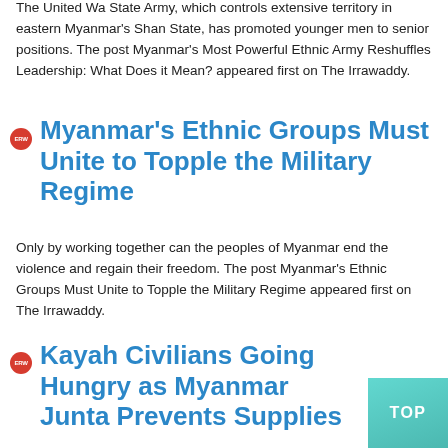The United Wa State Army, which controls extensive territory in eastern Myanmar's Shan State, has promoted younger men to senior positions. The post Myanmar's Most Powerful Ethnic Army Reshuffles Leadership: What Does it Mean? appeared first on The Irrawaddy.
Myanmar's Ethnic Groups Must Unite to Topple the Military Regime
Only by working together can the peoples of Myanmar end the violence and regain their freedom. The post Myanmar's Ethnic Groups Must Unite to Topple the Military Regime appeared first on The Irrawaddy.
Kayah Civilians Going Hungry as Myanmar Junta Prevents Supplies